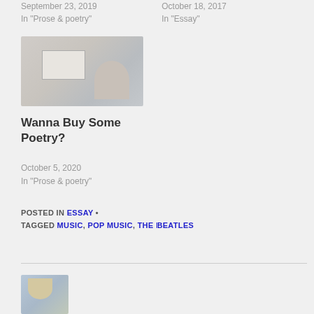September 23, 2019
In "Prose & poetry"
October 18, 2017
In "Essay"
[Figure (photo): Open notebook or sketchbook with handwritten notes and drawings on the pages, lying on a wooden surface]
Wanna Buy Some Poetry?
October 5, 2020
In "Prose & poetry"
POSTED IN ESSAY •
TAGGED MUSIC, POP MUSIC, THE BEATLES
[Figure (photo): Close-up of a person with blonde braided hair from behind, outdoors]